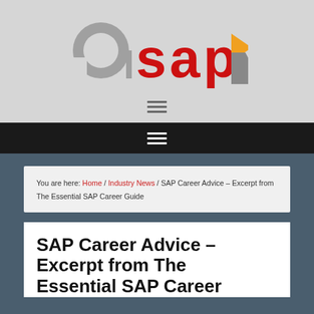[Figure (logo): ASAP logo with gray 'a', red 'sap' text, and orange/gray arrow-triangle graphic on gray background]
≡ (hamburger menu icon on dark navigation bar)
You are here: Home / Industry News / SAP Career Advice – Excerpt from The Essential SAP Career Guide
SAP Career Advice – Excerpt from The Essential SAP Career